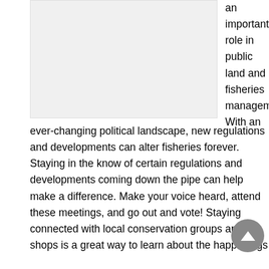[Figure (photo): Image placeholder (gray rectangle) occupying the left-center portion of the upper half of the page.]
an important role in public land and fisheries management. With an ever-changing political landscape, new regulations and developments can alter fisheries forever. Staying in the know of certain regulations and developments coming down the pipe can help make a difference. Make your voice heard, attend these meetings, and go out and vote! Staying connected with local conservation groups and fly shops is a great way to learn about the happenings